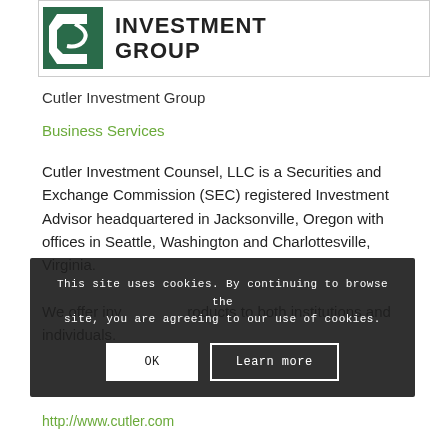[Figure (logo): Cutler Investment Group logo with green square and stylized letter C, followed by INVESTMENT GROUP text]
Cutler Investment Group
Business Services
Cutler Investment Counsel, LLC is a Securities and Exchange Commission (SEC) registered Investment Advisor headquartered in Jacksonville, Oregon with offices in Seattle, Washington and Charlottesville, Virginia. We offer investment products to both institutions and individuals.
This site uses cookies. By continuing to browse the site, you are agreeing to our use of cookies.
http://www.cutler.com